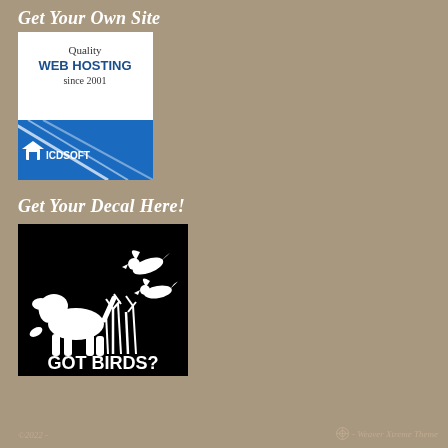Get Your Own Site
[Figure (logo): ICDSoft web hosting advertisement banner. White top section with text 'Quality WEB HOSTING since 2001', blue bottom section with diagonal white stripe and ICDSOFT logo/text.]
Get Your Decal Here!
[Figure (illustration): Black square image with white silhouette of a dog pointing at two birds in flight above reeds/marsh grass. Text at bottom reads 'GOT BIRDS?']
©2022 -
- Weaver Xtreme Theme